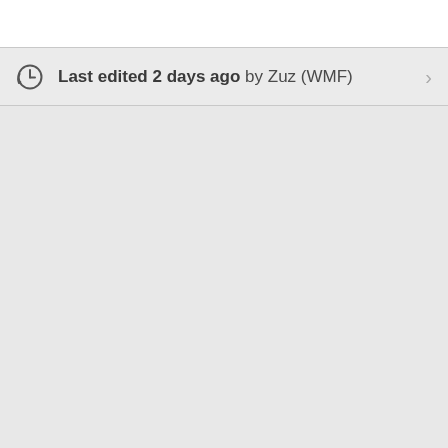Last edited 2 days ago by Zuz (WMF)